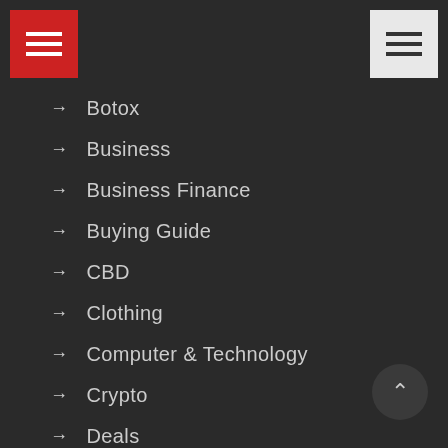[Figure (screenshot): Red hamburger menu button in top-left corner]
[Figure (screenshot): White hamburger menu button in top-right corner]
Botox
Business
Business Finance
Buying Guide
CBD
Clothing
Computer & Technology
Crypto
Deals
Debt
Dental
Digitizing
Electronics
Entertainment